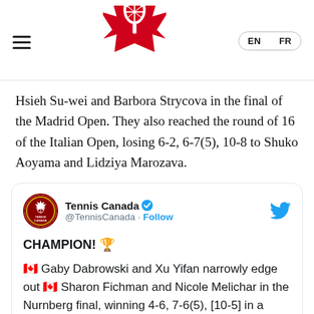Tennis Canada — EN | FR
Hsieh Su-wei and Barbora Strycova in the final of the Madrid Open. They also reached the round of 16 of the Italian Open, losing 6-2, 6-7(5), 10-8 to Shuko Aoyama and Lidziya Marozava.
[Figure (screenshot): Tennis Canada tweet card: @TennisCanada with verified badge. Tweet text: CHAMPION! 🏆 🇨🇦 Gaby Dabrowski and Xu Yifan narrowly edge out 🇨🇦 Sharon Fichman and Nicole Melichar in the Nurnberg final, winning 4-6, 7-6(5), [10-5] in a doubles]